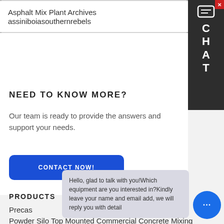Asphalt Mix Plant Archives assiniboiasouthernrebels
NEED TO KNOW MORE?
Our team is ready to provide the answers and support your needs.
CONTACT NOW!
PRODUCTS
Precas...
Powder Silo Top Mounted Commercial Concrete Mixing
Hello, glad to talk with you!Which equipment are you interested in?Kindly leave your name and email add, we will reply you with detail